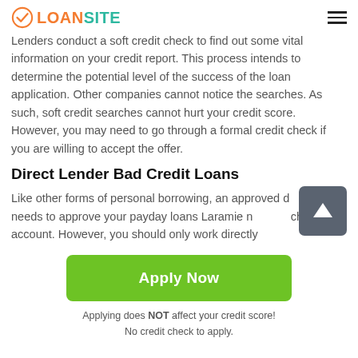LOANSITE
Lenders conduct a soft credit check to find out some vital information on your credit report. This process intends to determine the potential level of the success of the loan application. Other companies cannot notice the searches. As such, soft credit searches cannot hurt your credit score. However, you may need to go through a formal credit check if you are willing to accept the offer.
Direct Lender Bad Credit Loans
Like other forms of personal borrowing, an approved direct lender needs to approve your payday loans Laramie needs a checking account. However, you should only work directly
[Figure (other): Green Apply Now button with text 'Apply Now']
Applying does NOT affect your credit score!
No credit check to apply.